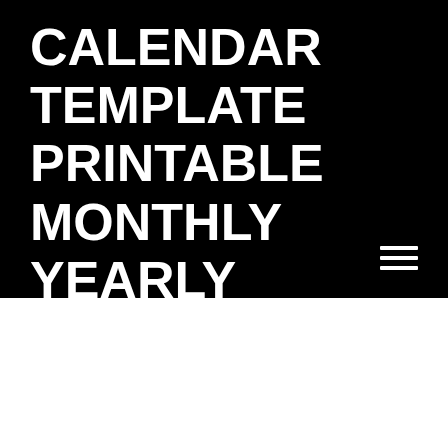CALENDAR TEMPLATE PRINTABLE MONTHLY YEARLY
[Figure (other): Hamburger menu icon with three horizontal white lines on black background]
20+ 2022 Calendar With Holidays Printable – Free Download/Install